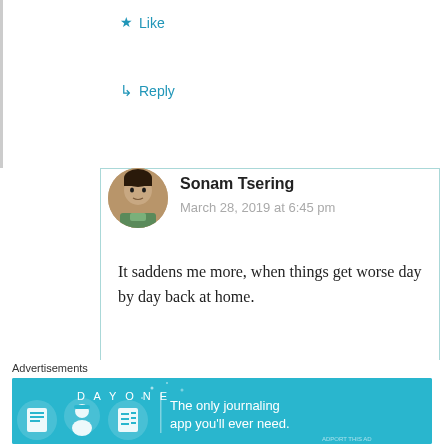★ Like
↳ Reply
Sonam Tsering
March 28, 2019 at 6:45 pm
It saddens me more, when things get worse day by day back at home.
★ Liked by 1 person
↳ Reply
[Figure (infographic): DayOne journaling app advertisement banner: teal background with text 'The only journaling app you'll ever need.']
Advertisements